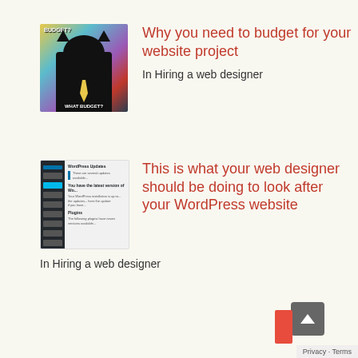[Figure (illustration): Meme image of a black cat in a suit with text 'BUDGET?' at top and 'WHAT BUDGET?' at bottom, on colorful background]
Why you need to budget for your website project
In Hiring a web designer
[Figure (screenshot): Screenshot of WordPress admin dashboard showing WordPress Updates page with sidebar navigation]
This is what your web designer should be doing to look after your WordPress website
In Hiring a web designer